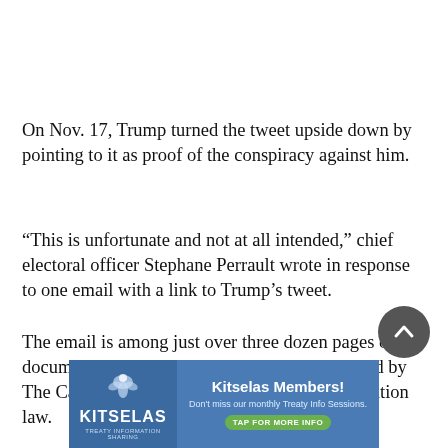On Nov. 17, Trump turned the tweet upside down by pointing to it as proof of the conspiracy against him.
“This is unfortunate and not at all intended,” chief electoral officer Stephane Perrault wrote in response to one email with a link to Trump’s tweet.
The email is among just over three dozen pages of documents about the social media posts obtained by The Canadian Press under the access-to-information law.
[Figure (other): Kitselas Members advertisement banner with logo and call to action: 'Don't miss our monthly Treaty Info Sessions. TAP FOR MORE INFO']